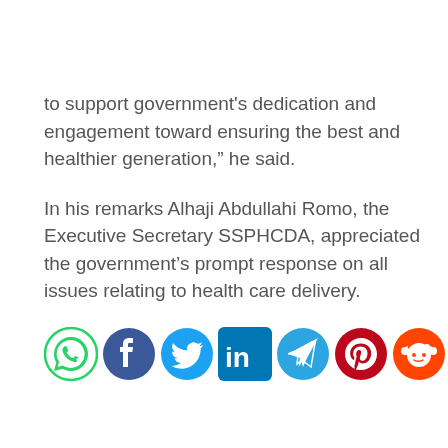to support government’s dedication and engagement toward ensuring the best and healthier generation,” he said.
In his remarks Alhaji Abdullahi Romo, the Executive Secretary SSPHCDA, appreciated the government’s prompt response on all issues relating to health care delivery.
[Figure (infographic): Row of social media share icons: WhatsApp, Facebook, Twitter, LinkedIn, Telegram, Pinterest, Reddit, Email]